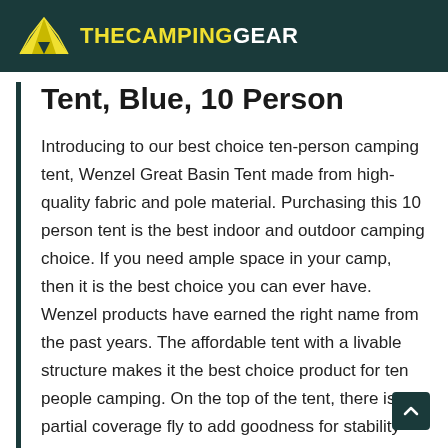THECAMPINGGEAR
Tent, Blue, 10 Person
Introducing to our best choice ten-person camping tent, Wenzel Great Basin Tent made from high-quality fabric and pole material. Purchasing this 10 person tent is the best indoor and outdoor camping choice. If you need ample space in your camp, then it is the best choice you can ever have. Wenzel products have earned the right name from the past years. The affordable tent with a livable structure makes it the best choice product for ten people camping. On the top of the tent, there is a partial coverage fly to add goodness for stability and protection. The mesh